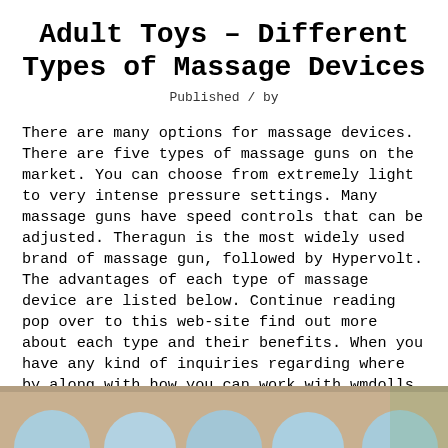Adult Toys – Different Types of Massage Devices
Published / by
There are many options for massage devices. There are five types of massage guns on the market. You can choose from extremely light to very intense pressure settings. Many massage guns have speed controls that can be adjusted. Theragun is the most widely used brand of massage gun, followed by Hypervolt. The advantages of each type of massage device are listed below. Continue reading pop over to this web-site find out more about each type and their benefits. When you have any kind of inquiries regarding where by along with how you can work with wmdolls, you are able pop over to this web-site call us in the webpage.
[Figure (photo): Partial view of round colorful objects (possibly massage balls or similar adult toy products) against a tan/beige background, cropped at the bottom of the page.]